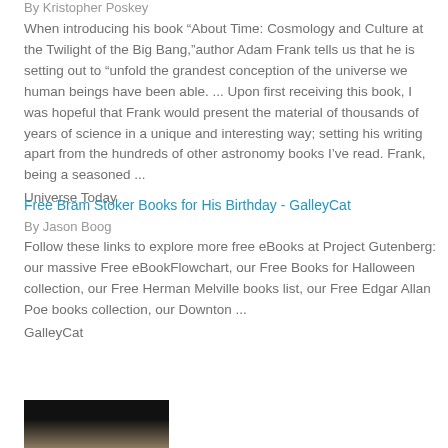By Kristopher Poskey
When introducing his book “About Time: Cosmology and Culture at the Twilight of the Big Bang,”author Adam Frank tells us that he is setting out to “unfold the grandest conception of the universe we human beings have been able. ... Upon first receiving this book, I was hopeful that Frank would present the material of thousands of years of science in a unique and interesting way; setting his writing apart from the hundreds of other astronomy books I’ve read. Frank, being a seasoned ...
Universe Today
Free Bram Stoker Books for His Birthday - GalleyCat
By Jason Boog
Follow these links to explore more free eBooks at Project Gutenberg: our massive Free eBookFlowchart, our Free Books for Halloween collection, our Free Herman Melville books list, our Free Edgar Allan Poe books collection, our Downton ...
GalleyCat
[Figure (photo): Thumbnail image, mostly black with some brown/tan tones visible at the bottom]